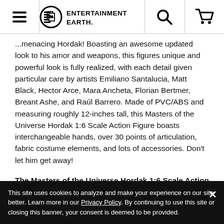Entertainment Earth — navigation header with menu, logo, search, and cart icons
...menacing Hordak! Boasting an awesome updated look to his amor and weapons, this figures unique and powerful look is fully realized, with each detail given particular care by artists Emiliano Santalucia, Matt Black, Hector Arce, Mara Ancheta, Florian Bertmer, Breant Ashe, and Raúl Barrero. Made of PVC/ABS and measuring roughly 12-inches tall, this Masters of the Universe Hordak 1:6 Scale Action Figure boasts interchangeable hands, over 30 points of articulation, fabric costume elements, and lots of accessories. Don't let him get away!
The Masters of the Universe Hordak 1:6 Scale Action Figure includes:
Crossbow
Staff
Removable Cape
This site uses cookies to analyze and make your experience on our site better. Learn more in our Privacy Policy. By continuing to use this site or closing this banner, your consent is deemed to be provided.